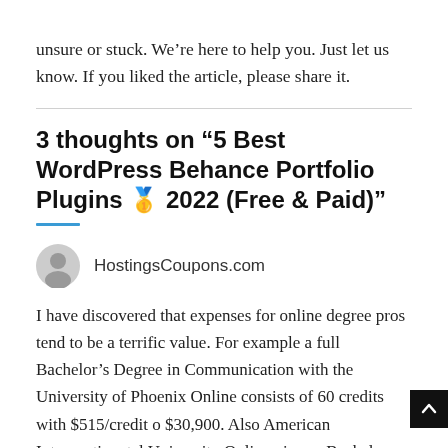unsure or stuck. We’re here to help you. Just let us know. If you liked the article, please share it.
3 thoughts on “5 Best WordPress Behance Portfolio Plugins 🥇 2022 (Free & Paid)”
HostingsCoupons.com
I have discovered that expenses for online degree pros tend to be a terrific value. For example a full Bachelor’s Degree in Communication with the University of Phoenix Online consists of 60 credits with $515/credit o $30,900. Also American Intercontinental University Online gives a Bachelors of Business